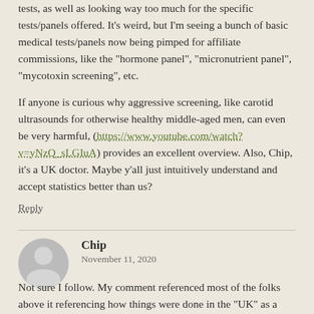tests, as well as looking way too much for the specific tests/panels offered. It's weird, but I'm seeing a bunch of basic medical tests/panels now being pimped for affiliate commissions, like the "hormone panel", "micronutrient panel", "mycotoxin screening", etc.
If anyone is curious why aggressive screening, like carotid ultrasounds for otherwise healthy middle-aged men, can even be very harmful, (https://www.youtube.com/watch?v=yNzQ_sLGIuA) provides an excellent overview. Also, Chip, it's a UK doctor. Maybe y'all just intuitively understand and accept statistics better than us?
Reply
Chip
November 11, 2020
Not sure I follow. My comment referenced most of the folks above it referencing how things were done in the "UK" as a purported stark contrast to how we operate in the states. I was pointing out the similarity in our actual approach, not claiming to be more intuitive.